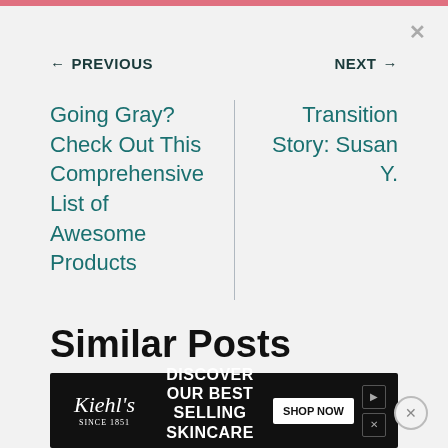← PREVIOUS    NEXT →
Going Gray? Check Out This Comprehensive List of Awesome Products
Transition Story: Susan Y.
Similar Posts
[Figure (infographic): Kiehl's advertisement banner: DISCOVER OUR BEST SELLING SKINCARE IN-STORE & ONLINE with SHOP NOW button]